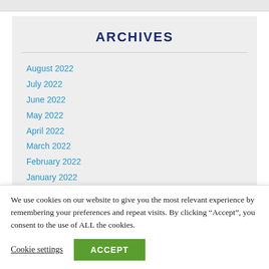ARCHIVES
August 2022
July 2022
June 2022
May 2022
April 2022
March 2022
February 2022
We use cookies on our website to give you the most relevant experience by remembering your preferences and repeat visits. By clicking “Accept”, you consent to the use of ALL the cookies.
Cookie settings  ACCEPT